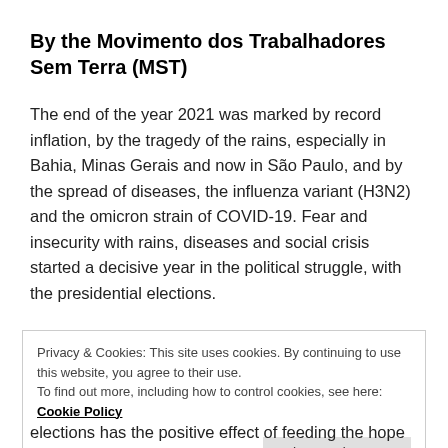By the Movimento dos Trabalhadores Sem Terra (MST)
The end of the year 2021 was marked by record inflation, by the tragedy of the rains, especially in Bahia, Minas Gerais and now in São Paulo, and by the spread of diseases, the influenza variant (H3N2) and the omicron strain of COVID-19. Fear and insecurity with rains, diseases and social crisis started a decisive year in the political struggle, with the presidential elections.
Privacy & Cookies: This site uses cookies. By continuing to use this website, you agree to their use.
To find out more, including how to control cookies, see here: Cookie Policy
elections has the positive effect of feeding the hope